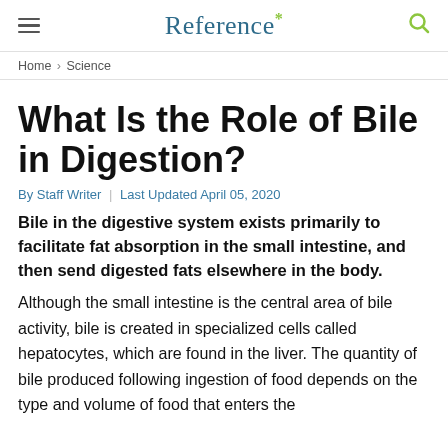Reference*
Home › Science
What Is the Role of Bile in Digestion?
By Staff Writer | Last Updated April 05, 2020
Bile in the digestive system exists primarily to facilitate fat absorption in the small intestine, and then send digested fats elsewhere in the body.
Although the small intestine is the central area of bile activity, bile is created in specialized cells called hepatocytes, which are found in the liver. The quantity of bile produced following ingestion of food depends on the type and volume of food that enters the